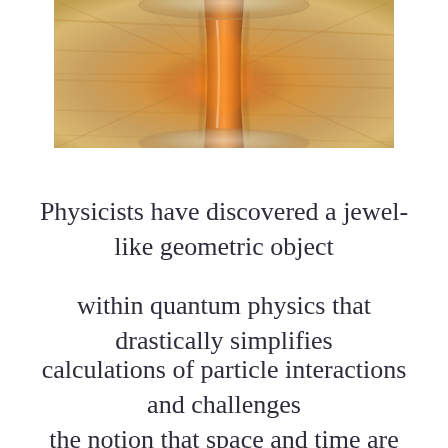[Figure (photo): Top-down close-up photo of an hourglass on a wooden surface, with warm amber and orange tones. The hourglass neck and glass top are visible.]
Physicists have discovered a jewel-like geometric object
within quantum physics that drastically simplifies
calculations of particle interactions and challenges
the notion that space and time are